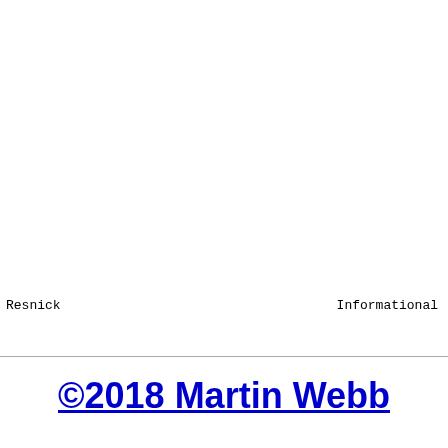Resnick    Informational
©2018 Martin Webb